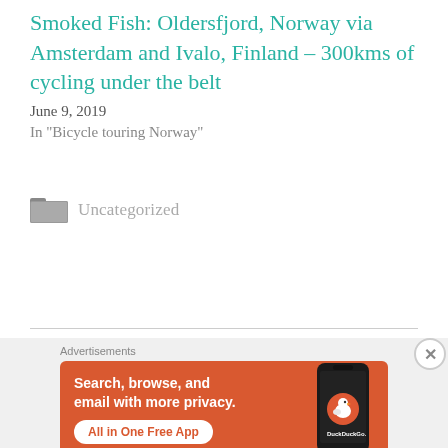Smoked Fish: Oldersfjord, Norway via Amsterdam and Ivalo, Finland – 300kms of cycling under the belt
June 9, 2019
In "Bicycle touring Norway"
Uncategorized
[Figure (screenshot): DuckDuckGo advertisement banner with orange background. Text reads: Search, browse, and email with more privacy. All in One Free App. DuckDuckGo logo on a smartphone graphic.]